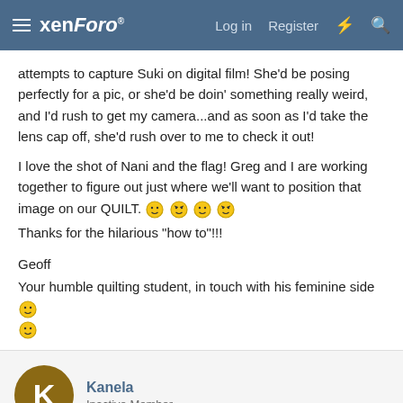xenForo — Log in  Register
attempts to capture Suki on digital film! She'd be posing perfectly for a pic, or she'd be doin' something really weird, and I'd rush to get my camera...and as soon as I'd take the lens cap off, she'd rush over to me to check it out!

I love the shot of Nani and the flag! Greg and I are working together to figure out just where we'll want to position that image on our QUILT. [emoji x4]
Thanks for the hilarious "how to"!!!

Geoff
Your humble quilting student, in touch with his feminine side [emoji] [emoji]
Kanela
Inactive Member
Feb 23, 2002  #7